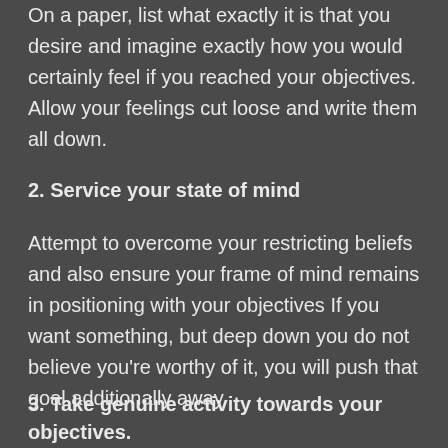On a paper, list what exactly it is that you desire and imagine exactly how you would certainly feel if you reached your objectives. Allow your feelings cut loose and write them all down.
2. Service your state of mind
Attempt to overcome your restricting beliefs and also ensure your frame of mind remains in positioning with your objectives If you want something, but deep down you do not believe you're worthy of it, you will push that goal additionally away.
3. Take genuine activity towards your objectives.